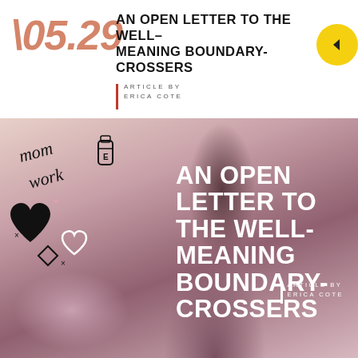\05.29
AN OPEN LETTER TO THE WELL-MEANING BOUNDARY-CROSSERS
ARTICLE BY ERICA COTE
[Figure (photo): A woman with long braids lying on a bed writing in a notebook. Doodle illustrations overlay the left side including text 'mom work', hearts, and sketches. Overlay text reads 'AN OPEN LETTER TO THE WELL-MEANING BOUNDARY-CROSSERS' with byline 'ARTICLE BY ERICA COTE']